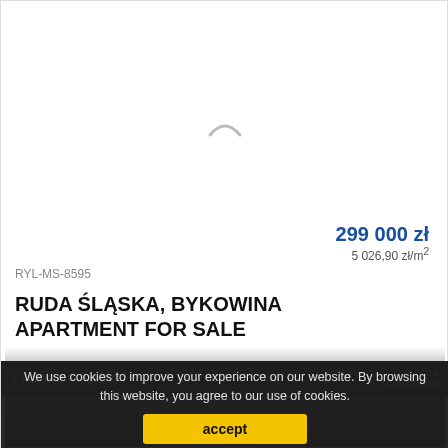[Figure (photo): Real estate listing card image placeholder with loading spinner icon, gradient overlay at bottom]
299 000 zł
5 026,90 zł/m²
RYL-MS-8595
RUDA ŚLĄSKA, BYKOWINA APARTMENT FOR SALE
3 ROOMS | 59.48 M²
ADD TO NOTEPAD
We use cookies to improve your experience on our website. By browsing this website, you agree to our use of cookies.
accept